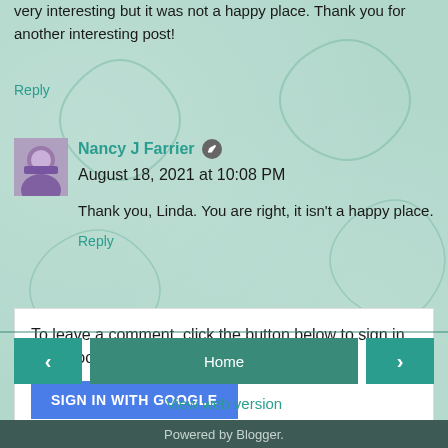very interesting but it was not a happy place. Thank you for another interesting post!
Reply
Nancy J Farrier  August 18, 2021 at 10:08 PM
Thank you, Linda. You are right, it isn't a happy place.
Reply
To leave a comment, click the button below to sign in with Google.
SIGN IN WITH GOOGLE
Home
View web version
Powered by Blogger.